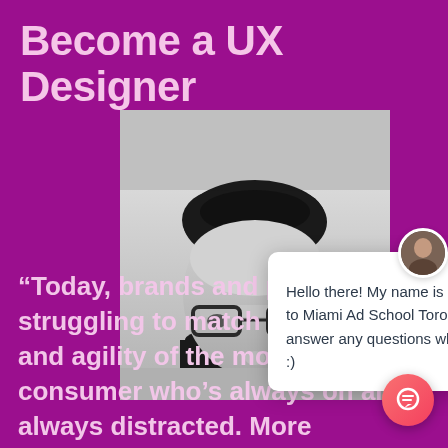Become a UX Designer
[Figure (photo): Black and white portrait photo of a young man wearing glasses, looking slightly upward, cropped at the nose, wearing a dark top.]
[Figure (screenshot): Chat popup widget with avatar of a person, close X button, and message: Hello there! My name is Hazel. Welcome to Miami Ad School Toronto. Happy to answer any questions while you browse :)]
“Today, brands and products are struggling to match the speed and agility of the modern consumer who’s always on and always distracted. More